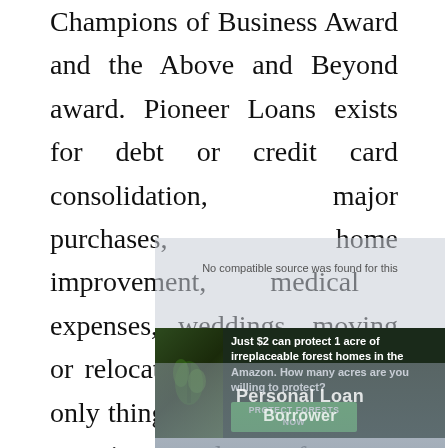Champions of Business Award and the Above and Beyond award. Pioneer Loans exists for debt or credit card consolidation, major purchases, home improvement, medical expenses, weddings, moving or relocation or vacation. The only things you can't apply for a pioneer loan for are education and starting a business.
[Figure (screenshot): An advertisement overlay showing 'No compatible source was found for this' message and a rainforest charity ad: 'Just $2 can protect 1 acre of irreplaceable forest homes in the Amazon. How many acres are you willing to protect?' with a PROTECT FORESTS NOW button, overlaid on a blurred Personal Loan Borrower video background.]